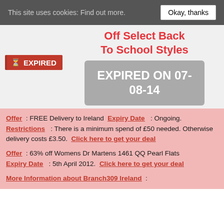This site uses cookies: Find out more.   Okay, thanks
Off Select Back To School Styles
[Figure (infographic): Grey rounded rectangle badge showing 'EXPIRED ON 07-08-14' in white bold text]
EXPIRED
Offer : FREE Delivery to Ireland Expiry Date : Ongoing. Restrictions : There is a minimum spend of £50 needed. Otherwise delivery costs £3.50. Click here to get your deal
Offer : 63% off Womens Dr Martens 1461 QQ Pearl Flats Expiry Date : 5th April 2012. Click here to get your deal
More Information about Branch309 Ireland :